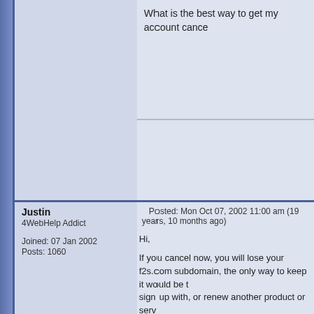What is the best way to get my account cance
Justin
4WebHelp Addict

Joined: 07 Jan 2002
Posts: 1060
Posted: Mon Oct 07, 2002 11:00 am (19 years, 10 months ago)
Hi,

If you cancel now, you will lose your f2s.com subdomain, the only way to keep it would be to sign up with, or renew another product or service from Freedom2Surf.

The best way would be to call freedom2surf, details can be found on opening hours, contact numbers etc at :
http://www.freedom2support.co.uk/f2s/contact

Generally, you get a better result via the phone than you do via email.

Hope this Helps.